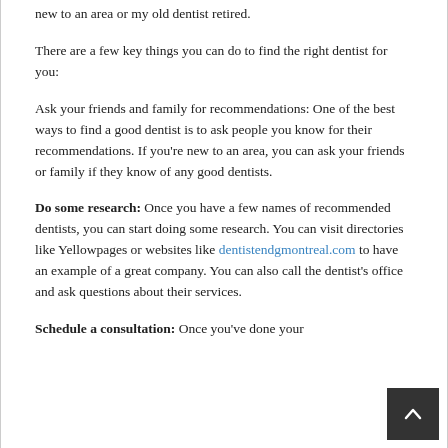new to an area or my old dentist retired.
There are a few key things you can do to find the right dentist for you:
Ask your friends and family for recommendations: One of the best ways to find a good dentist is to ask people you know for their recommendations. If you're new to an area, you can ask your friends or family if they know of any good dentists.
Do some research: Once you have a few names of recommended dentists, you can start doing some research. You can visit directories like Yellowpages or websites like dentistendgmontreal.com to have an example of a great company. You can also call the dentist's office and ask questions about their services.
Schedule a consultation: Once you've done your